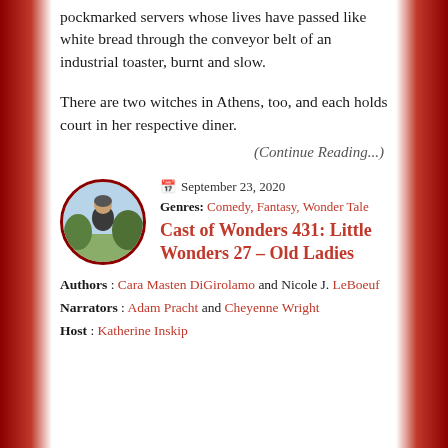pockmarked servers whose lives have passed like white bread through the conveyor belt of an industrial toaster, burnt and slow.
There are two witches in Athens, too, and each holds court in her respective diner.
(Continue Reading...)
[Figure (photo): Circular avatar photo of a person seen from behind against an outdoor background with trees and sky.]
September 23, 2020
Genres: Comedy, Fantasy, Wonder Tale
Cast of Wonders 431: Little Wonders 27 – Old Ladies
Authors : Cara Masten DiGirolamo and Nicole J. LeBoeuf
Narrators : Adam Pracht and Cheyenne Wright
Host : Katherine Inskip